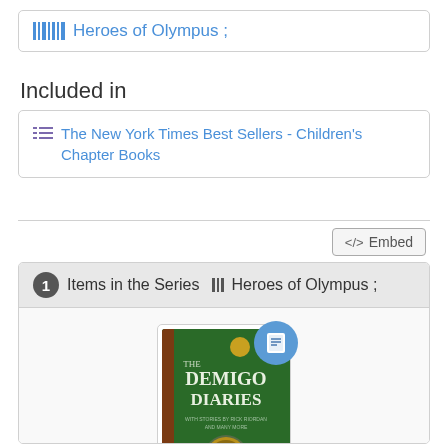Heroes of Olympus ;
Included in
The New York Times Best Sellers - Children's Chapter Books
Embed
1 Items in the Series ||| Heroes of Olympus ;
[Figure (illustration): Book cover of The Demigod Diaries by Rick Riordan with a blue book badge icon overlay]
The demigod